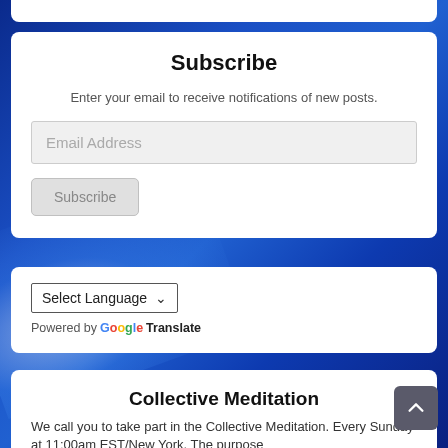Subscribe
Enter your email to receive notifications of new posts.
Email Address
Subscribe
Select Language
Powered by Google Translate
Collective Meditation
We call you to take part in the Collective Meditation. Every Sunday at 11:00am EST/New York. The purpose